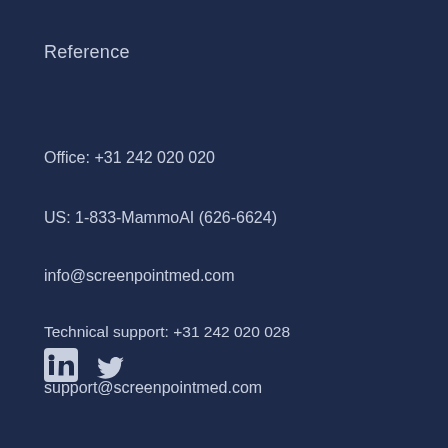Reference
Office: +31 242 020 020
US: 1-833-MammoAI (626-6624)
info@screenpointmed.com
Technical support: +31 242 020 028
support@screenpointmed.com
[Figure (logo): LinkedIn and Twitter social media icons]